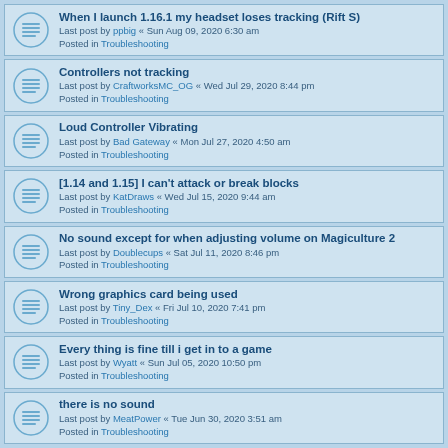When I launch 1.16.1 my headset loses tracking (Rift S)
Last post by ppbig « Sun Aug 09, 2020 6:30 am
Posted in Troubleshooting
Controllers not tracking
Last post by CraftworksMC_OG « Wed Jul 29, 2020 8:44 pm
Posted in Troubleshooting
Loud Controller Vibrating
Last post by Bad Gateway « Mon Jul 27, 2020 4:50 am
Posted in Troubleshooting
[1.14 and 1.15] I can't attack or break blocks
Last post by KatDraws « Wed Jul 15, 2020 9:44 am
Posted in Troubleshooting
No sound except for when adjusting volume on Magiculture 2
Last post by Doublecups « Sat Jul 11, 2020 8:46 pm
Posted in Troubleshooting
Wrong graphics card being used
Last post by Tiny_Dex « Fri Jul 10, 2020 7:41 pm
Posted in Troubleshooting
Every thing is fine till i get in to a game
Last post by Wyatt « Sun Jul 05, 2020 10:50 pm
Posted in Troubleshooting
there is no sound
Last post by MeatPower « Tue Jun 30, 2020 3:51 am
Posted in Troubleshooting